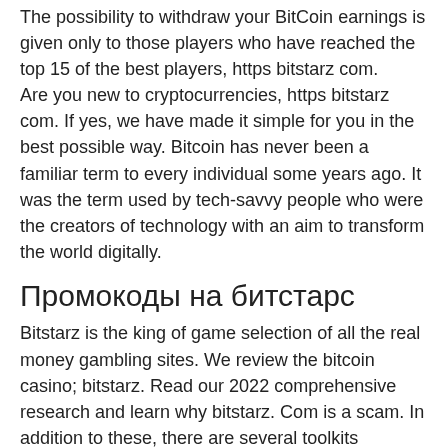The possibility to withdraw your BitCoin earnings is given only to those players who have reached the top 15 of the best players, https bitstarz com.
Are you new to cryptocurrencies, https bitstarz com. If yes, we have made it simple for you in the best possible way. Bitcoin has never been a familiar term to every individual some years ago. It was the term used by tech-savvy people who were the creators of technology with an aim to transform the world digitally.
Промокоды на битстарс
Bitstarz is the king of game selection of all the real money gambling sites. We review the bitcoin casino; bitstarz. Read our 2022 comprehensive research and learn why bitstarz. Com is a scam. In addition to these, there are several toolkits available for creating ar apps on smartphones and wearable devices. Bitstarz casinò è una